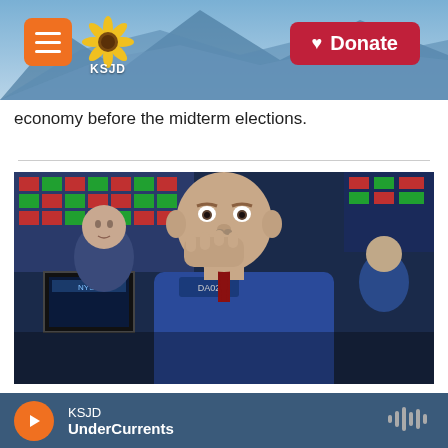KSJD | Donate
economy before the midterm elections.
[Figure (photo): Two stock traders on the New York Stock Exchange floor in blue jackets, one bald man biting his hand appearing stressed, another man in background looking on, with trading screens visible.]
U.S. Stocks Down Sharply Again After Wednesday's Rout
KSJD UnderCurrents